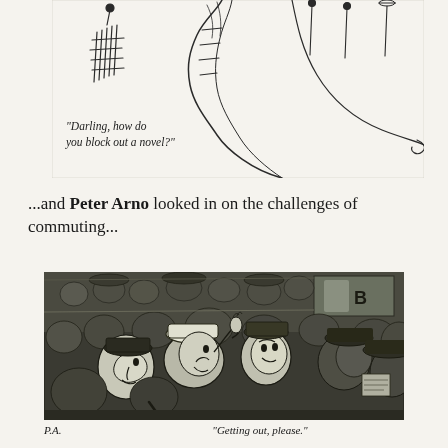[Figure (illustration): Line drawing cartoon showing figures, one appears to be a woman in a flowing dress, with sparse sketched figures in background]
“Darling, how do you block out a novel?”
...and Peter Arno looked in on the challenges of commuting...
[Figure (illustration): Dark, heavily shaded cartoon drawing by Peter Arno depicting a crowded commuter scene with many figures packed together, expressive faces visible in the crowd]
“Getting out, please.”